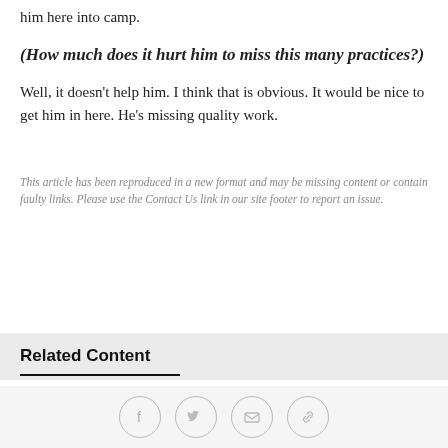him here into camp.
(How much does it hurt him to miss this many practices?)
Well, it doesn't help him. I think that is obvious. It would be nice to get him in here. He's missing quality work.
This article has been reproduced in a new format and may be missing content or contain faulty links. Please use the Contact Us link in our site footer to report an issue.
Related Content